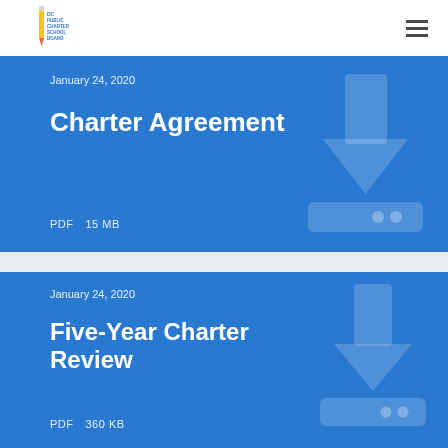DC Public Charter School Board
January 24, 2020
Charter Agreement
PDF    15 MB
January 24, 2020
Five-Year Charter Review
PDF    360 KB